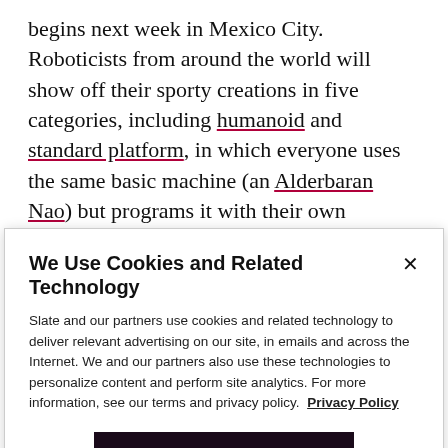begins next week in Mexico City. Roboticists from around the world will show off their sporty creations in five categories, including humanoid and standard platform, in which everyone uses the same basic machine (an Alderbaran Nao) but programs it with their own software. The mission: to have a winning RoboCup team play human World Cup victors in a competitive game by 2050. The RoboCup's organizers admit that at current rates of technological progress, professional
We Use Cookies and Related Technology
Slate and our partners use cookies and related technology to deliver relevant advertising on our site, in emails and across the Internet. We and our partners also use these technologies to personalize content and perform site analytics. For more information, see our terms and privacy policy. Privacy Policy